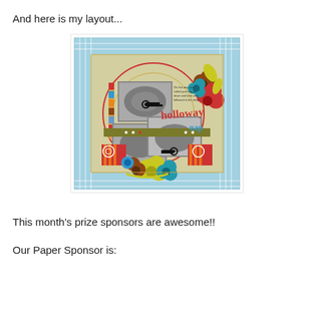And here is my layout...
[Figure (photo): A scrapbook layout page with a blue gingham border, colorful decorative elements including red and orange striped papers, flower embellishments in red, teal, brown and yellow, two black and white photos of a sleeping child, a large red circle, and handwritten text reading 'holloway nap']
This month's prize sponsors are awesome!!
Our Paper Sponsor is: